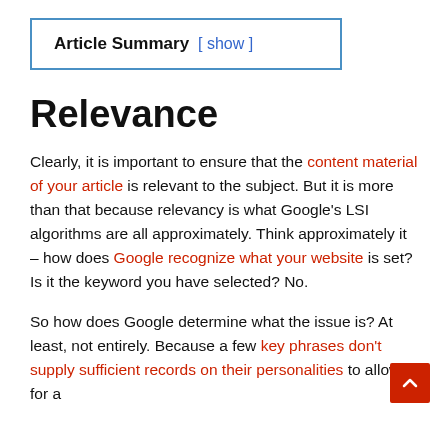Article Summary  [ show ]
Relevance
Clearly, it is important to ensure that the content material of your article is relevant to the subject. But it is more than that because relevancy is what Google's LSI algorithms are all approximately. Think approximately it – how does Google recognize what your website is set? Is it the keyword you have selected? No.
So how does Google determine what the issue is? At least, not entirely. Because a few key phrases don't supply sufficient records on their personalities to allow for a